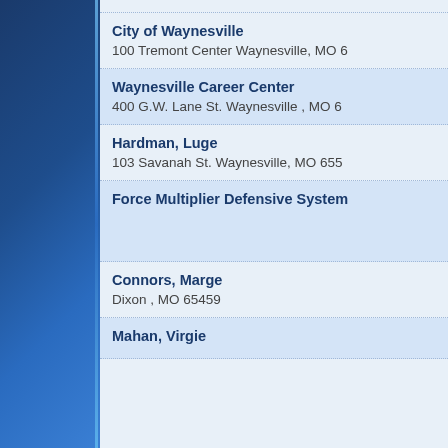City of Waynesville
100 Tremont Center Waynesville, MO 6
Waynesville Career Center
400 G.W. Lane St. Waynesville , MO 6
Hardman, Luge
103 Savanah St. Waynesville, MO 655
Force Multiplier Defensive System
Connors, Marge
Dixon , MO 65459
Mahan, Virgie